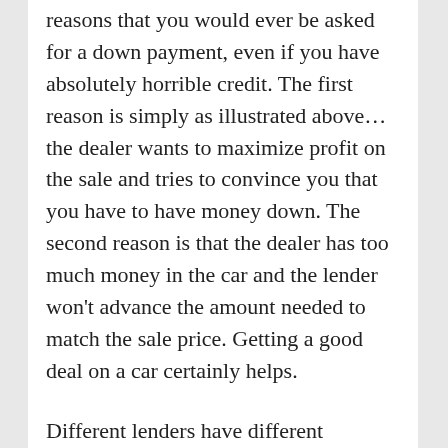reasons that you would ever be asked for a down payment, even if you have absolutely horrible credit. The first reason is simply as illustrated above… the dealer wants to maximize profit on the sale and tries to convince you that you have to have money down. The second reason is that the dealer has too much money in the car and the lender won't advance the amount needed to match the sale price. Getting a good deal on a car certainly helps.
Different lenders have different guidelines and there are good lenders that will advance the full amount needed for you to buy a good vehicle with bad credit. 0 down is commonplace with these types of lenders.